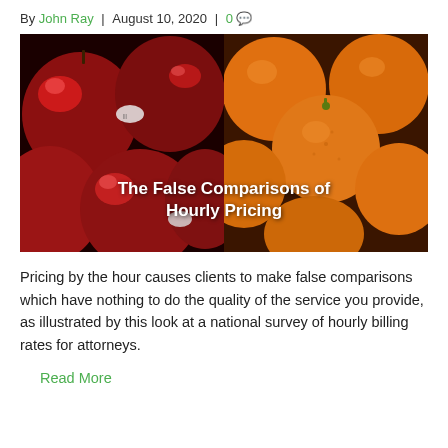By John Ray  |  August 10, 2020  |  0 💬
[Figure (photo): Split photo: red apples on the left half and oranges on the right half, with white bold text overlay reading 'The False Comparisons of Hourly Pricing']
Pricing by the hour causes clients to make false comparisons which have nothing to do the quality of the service you provide, as illustrated by this look at a national survey of hourly billing rates for attorneys.
Read More